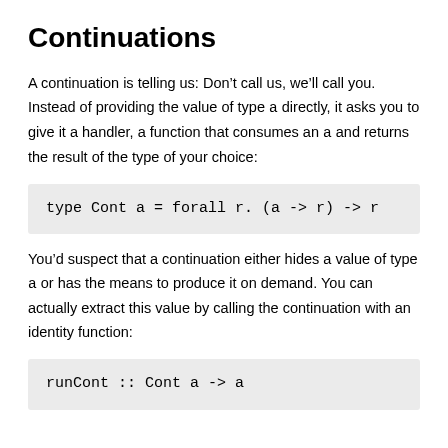Continuations
A continuation is telling us: Don’t call us, we’ll call you. Instead of providing the value of type a directly, it asks you to give it a handler, a function that consumes an a and returns the result of the type of your choice:
You’d suspect that a continuation either hides a value of type a or has the means to produce it on demand. You can actually extract this value by calling the continuation with an identity function: